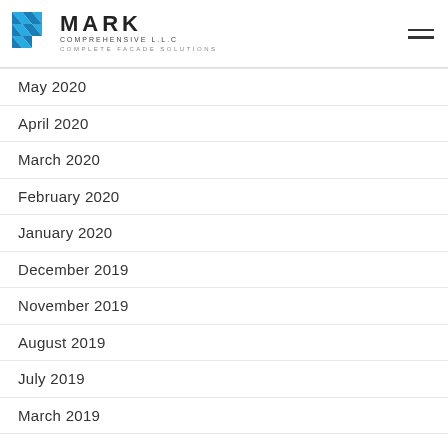MARK COMPREHENSIVE L.L.C — COMPLETE FACADE SOLUTIONS
May 2020
April 2020
March 2020
February 2020
January 2020
December 2019
November 2019
August 2019
July 2019
March 2019